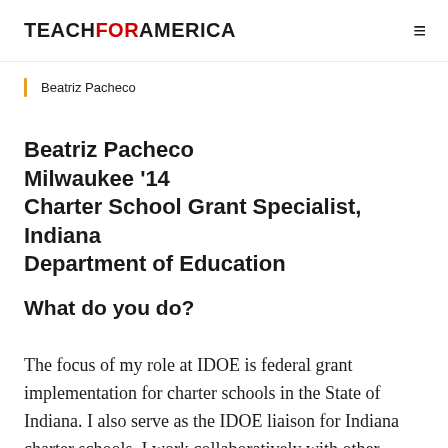TEACHFORAMERICA
Beatriz Pacheco
Beatriz Pacheco
Milwaukee '14
Charter School Grant Specialist, Indiana Department of Education
What do you do?
The focus of my role at IDOE is federal grant implementation for charter schools in the State of Indiana. I also serve as the IDOE liaison for Indiana charter schools. I work collaboratively with other IDOE divisions to provide a system of support to ensure all Indiana students have access to a high-quality education regardless of the school they